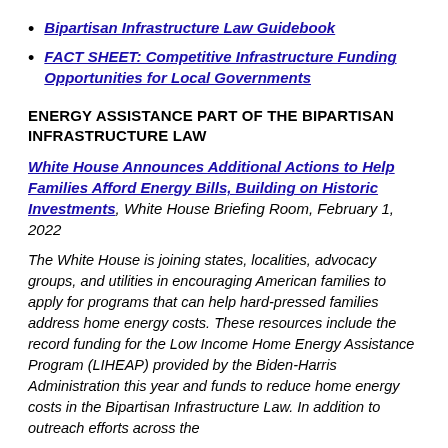Bipartisan Infrastructure Law Guidebook
FACT SHEET: Competitive Infrastructure Funding Opportunities for Local Governments
ENERGY ASSISTANCE PART OF THE BIPARTISAN INFRASTRUCTURE LAW
White House Announces Additional Actions to Help Families Afford Energy Bills, Building on Historic Investments, White House Briefing Room, February 1, 2022
The White House is joining states, localities, advocacy groups, and utilities in encouraging American families to apply for programs that can help hard-pressed families address home energy costs. These resources include the record funding for the Low Income Home Energy Assistance Program (LIHEAP) provided by the Biden-Harris Administration this year and funds to reduce home energy costs in the Bipartisan Infrastructure Law. In addition to outreach efforts across the